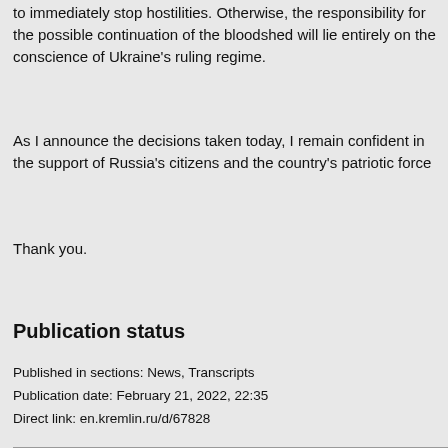to immediately stop hostilities. Otherwise, the responsibility for the possible continuation of the bloodshed will lie entirely on the conscience of Ukraine's ruling regime.
As I announce the decisions taken today, I remain confident in the support of Russia's citizens and the country's patriotic force
Thank you.
Publication status
Published in sections: News, Transcripts
Publication date: February 21, 2022, 22:35
Direct link: en.kremlin.ru/d/67828